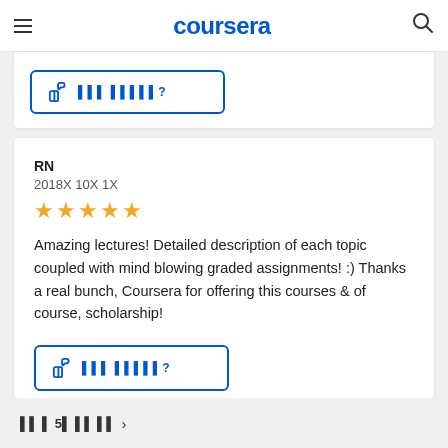coursera
[Figure (other): Thumbs up helpful button (partially visible from top review card)]
RN
2018년 10월 1일
[Figure (other): 4 gold stars rating]
Amazing lectures! Detailed description of each topic coupled with mind blowing graded assignments! :) Thanks a real bunch, Coursera for offering this courses & of course, scholarship!
[Figure (other): Thumbs up helpful button with Korean text]
다음 5개 리뷰 보기 →